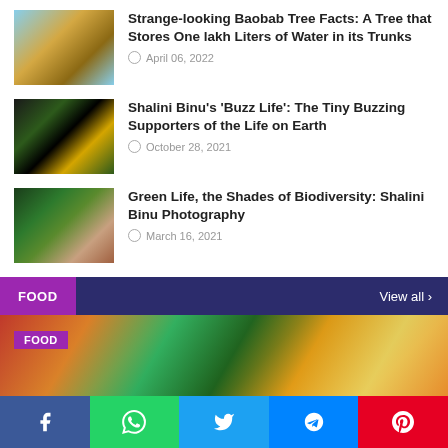Strange-looking Baobab Tree Facts: A Tree that Stores One lakh Liters of Water in its Trunks — April 06, 2022
Shalini Binu's 'Buzz Life': The Tiny Buzzing Supporters of the Life on Earth — October 28, 2021
Green Life, the Shades of Biodiversity: Shalini Binu Photography — March 16, 2021
FOOD — View all >
[Figure (photo): Food category hero image showing colorful food items]
Social share bar: Facebook, WhatsApp, Twitter, Messenger, Pinterest